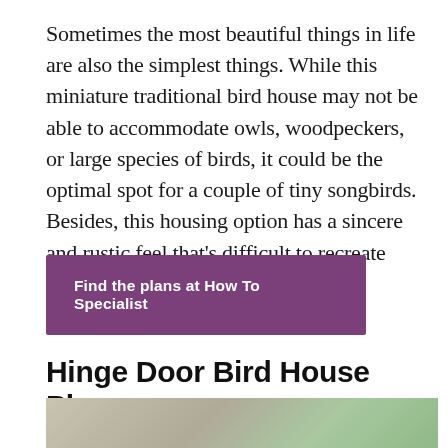Sometimes the most beautiful things in life are also the simplest things. While this miniature traditional bird house may not be able to accommodate owls, woodpeckers, or large species of birds, it could be the optimal spot for a couple of tiny songbirds. Besides, this housing option has a sincere and rustic feel that’s difficult to recreate with other plans.
Find the plans at How To Specialist
Hinge Door Bird House Plans
[Figure (photo): Partial view of a bird house photo, cut off at bottom of page]